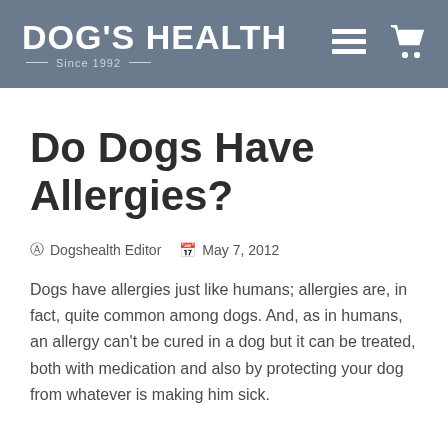DOG'S HEALTH Since 1992
Do Dogs Have Allergies?
Dogshealth Editor  May 7, 2012
Dogs have allergies just like humans; allergies are, in fact, quite common among dogs. And, as in humans, an allergy can't be cured in a dog but it can be treated, both with medication and also by protecting your dog from whatever is making him sick.